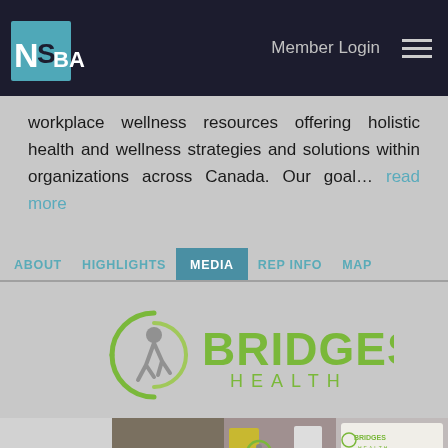NSBA — Member Login
workplace wellness resources offering holistic health and wellness strategies and solutions within organizations across Canada. Our goal… read more
ABOUT
HIGHLIGHTS
MEDIA
REP INFO
MAP
[Figure (logo): Bridges Health logo — circular arc figure icon with green arcs and a jumping person silhouette, next to the text BRIDGES HEALTH in green]
[Figure (photo): Thumbnail 1: Bridges Health small logo]
[Figure (photo): Thumbnail 2: Group photo of people at an event]
[Figure (photo): Thumbnail 3: People at a booth with Bridges Health signage]
[Figure (photo): Thumbnail 4: Group of women standing in front of a Bridges Health sign]